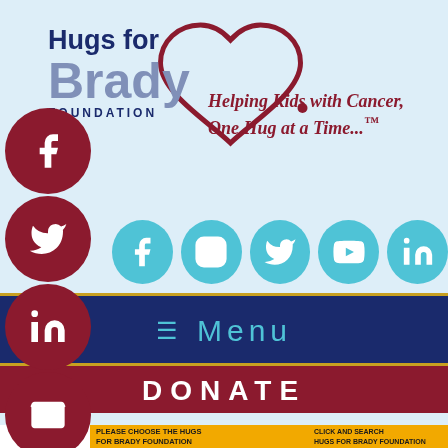[Figure (logo): Hugs for Brady Foundation logo with heart outline and tagline 'Helping Kids with Cancer, One Hug at a Time...™']
[Figure (infographic): Row of 5 teal social media icons: Facebook, Instagram, Twitter, YouTube, LinkedIn]
[Figure (infographic): Left sidebar with 4 dark red social/contact icons: Facebook, Twitter, LinkedIn, Email]
≡  Menu
DONATE
[Figure (infographic): Amazon Smile banner: 'PLEASE CHOOSE THE HUGS FOR BRADY FOUNDATION' and 'CLICK AND SEARCH HUGS FOR BRADY FOUNDATION']